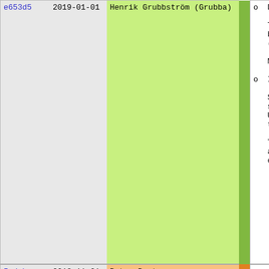| hash | date | author | message |
| --- | --- | --- | --- |
| e653d5 | 2019-01-01 | Henrik Grubbström (Grubba) | o Drop use o

The ioctl-
but to be
(August 20

Most of th

o Improved p

Solaris 11
searches i
Unfortunat
the 32-bit

This issue
a SIGSEGV
of ffi_clo |
| 5edabc | 2018-11-01 | Peter Bortas |  |
| bf3030 | 2018-05-19 | Peter Bortas | Changes sinc |
| 46e732 | 2018-06-12 | Henrik Grubbström (Grubba) | New Features
------------

o Sql.mysql

In unicode |